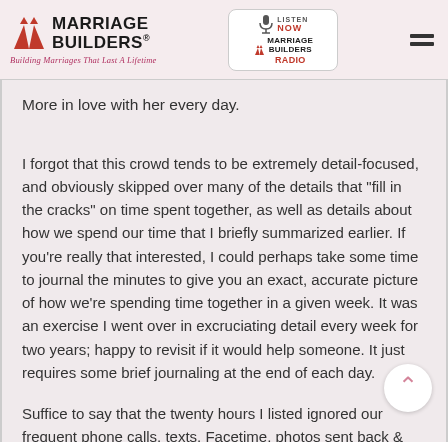Marriage Builders® — Building Marriages That Last A Lifetime | Listen Now Marriage Builders Radio
More in love with her every day.
I forgot that this crowd tends to be extremely detail-focused, and obviously skipped over many of the details that "fill in the cracks" on time spent together, as well as details about how we spend our time that I briefly summarized earlier. If you're really that interested, I could perhaps take some time to journal the minutes to give you an exact, accurate picture of how we're spending time together in a given week. It was an exercise I went over in excruciating detail every week for two years; happy to revisit if it would help someone. It just requires some brief journaling at the end of each day.
Suffice to say that the twenty hours I listed ignored our frequent phone calls, texts, Facetime, photos sent back & forth, etc. Puts us